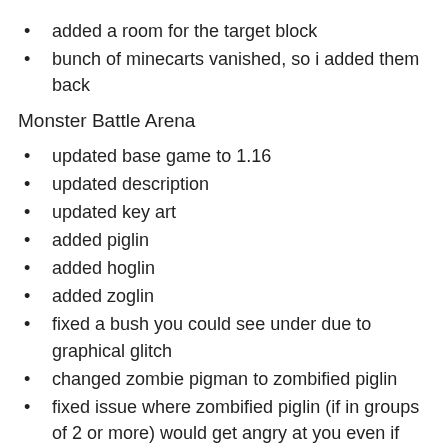added a room for the target block
bunch of minecarts vanished, so i added them back
Monster Battle Arena
updated base game to 1.16
updated description
updated key art
added piglin
added hoglin
added zoglin
fixed a bush you could see under due to graphical glitch
changed zombie pigman to zombified piglin
fixed issue where zombified piglin (if in groups of 2 or more) would get angry at you even if you were on the same team
fixed issue where enderman would get angry at you even if you were on the same team
gave a makeover to lava arena
gave a makeover to water arena
added cage option – unlocked from the beginning
added maze arena – unlocks after completing waves
added netherite equipment – unlocks after getting all